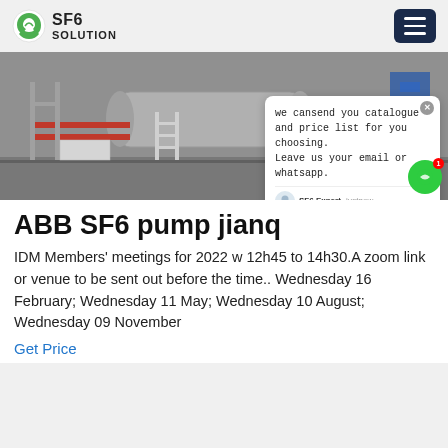SF6 SOLUTION
[Figure (photo): Industrial SF6 pump equipment in a facility, showing large cylindrical machinery, red pipes, and industrial structures. A chat popup overlay is visible on the right side of the image.]
ABB SF6 pump jianq
IDM Members' meetings for 2022 w 12h45 to 14h30.A zoom link or venue to be sent out before the time.. Wednesday 16 February; Wednesday 11 May; Wednesday 10 August; Wednesday 09 November
Get Price